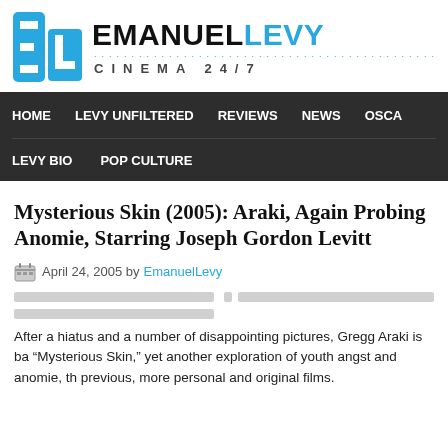[Figure (logo): Emanuel Levy Cinema 24/7 logo with blue EL icon and black/blue text]
HOME   LEVY UNFILTERED   REVIEWS   NEWS   OSCAR   LEVY BIO   POP CULTURE
Mysterious Skin (2005): Araki, Again Probing Anomie, Starring Joseph Gordon Levitt
April 24, 2005 by EmanuelLevy
After a hiatus and a number of disappointing pictures, Gregg Araki is back with “Mysterious Skin,” yet another exploration of youth angst and anomie, th... previous, more personal and original films.